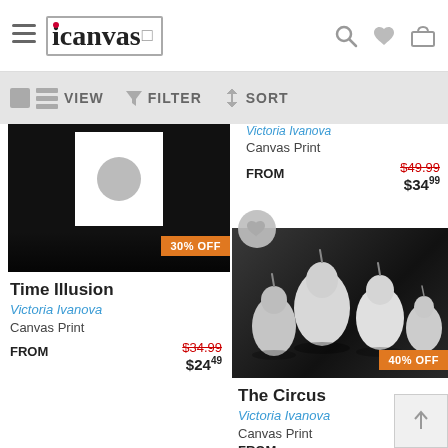icanvas — navigation header with search, wishlist, and cart icons
VIEW  FILTER  SORT toolbar
[Figure (photo): Black and white photo of a clock/polaroid arrangement on dark background with 30% OFF badge]
Victoria Ivanova
Canvas Print
FROM  $49.99 (strikethrough)  $34.99
Time Illusion
Victoria Ivanova
Canvas Print
FROM  $34.99 (strikethrough)  $24.49
[Figure (photo): Black and white photo of pears arranged artistically on dark background with 40% OFF badge]
The Circus
Victoria Ivanova
Canvas Print
FROM  $3...